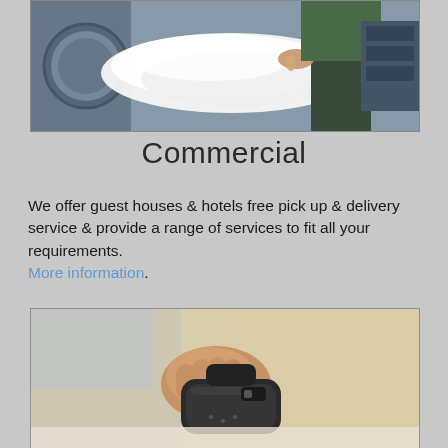[Figure (photo): Commercial laundry scene: a person loading or handling white linens/sheets near industrial washing machines, with laundry baskets visible]
Commercial
We offer guest houses & hotels free pick up & delivery service & provide a range of services to fit all your requirements.
More information.
[Figure (photo): Close-up of a hand gripping a steam iron pressed against fabric, blurred background suggesting an ironing/pressing service]